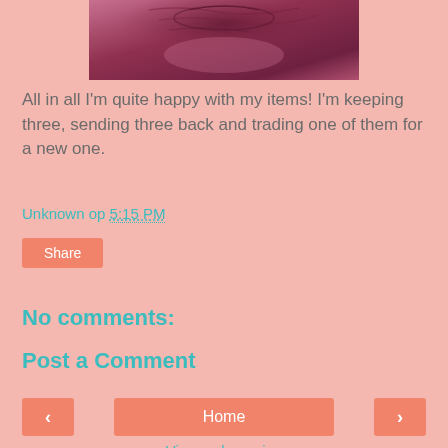[Figure (photo): Partial photo of a dark burgundy/maroon embroidered fabric item, cropped at top]
All in all I'm quite happy with my items! I'm keeping three, sending three back and trading one of them for a new one.
Unknown op 5:15 PM
Share
No comments:
Post a Comment
< Home >
View web version